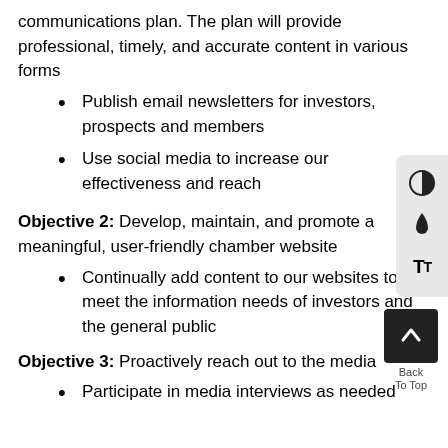communications plan. The plan will provide professional, timely, and accurate content in various forms
Publish email newsletters for investors, prospects and members
Use social media to increase our effectiveness and reach
Objective 2: Develop, maintain, and promote a meaningful, user-friendly chamber website
Continually add content to our websites to meet the information needs of investors and the general public
Objective 3: Proactively reach out to the media
Participate in media interviews as needed